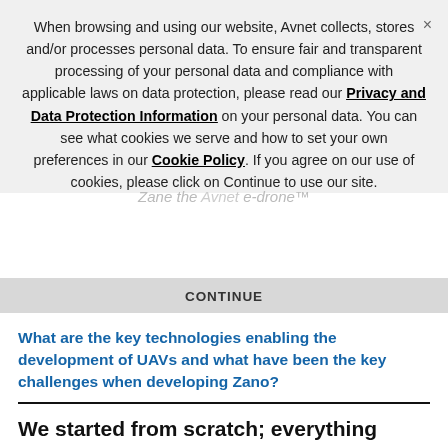When browsing and using our website, Avnet collects, stores and/or processes personal data. To ensure fair and transparent processing of your personal data and compliance with applicable laws on data protection, please read our Privacy and Data Protection Information on your personal data. You can see what cookies we serve and how to set your own preferences in our Cookie Policy. If you agree on our use of cookies, please click on Continue to use our site.
CONTINUE
What are the key technologies enabling the development of UAVs and what have been the key challenges when developing Zano?
We started from scratch; everything within Zano is developed by Torquing. A key challenge was to achieve the goal of building a truly mobile platform which